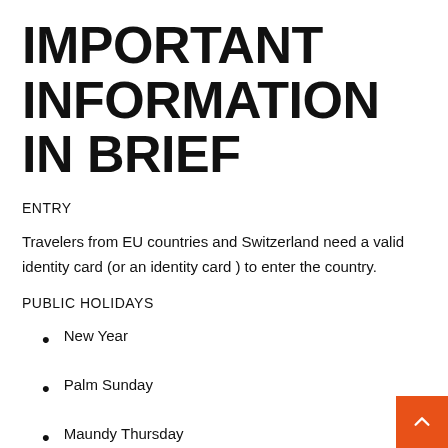IMPORTANT INFORMATION IN BRIEF
ENTRY
Travelers from EU countries and Switzerland need a valid identity card (or an identity card ) to enter the country.
PUBLIC HOLIDAYS
New Year
Palm Sunday
Maundy Thursday